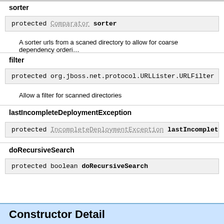sorter
protected Comparator sorter
A sorter urls from a scaned directory to allow for coarse dependency ordering
filter
protected org.jboss.net.protocol.URLLister.URLFilter filter
Allow a filter for scanned directories
lastIncompleteDeploymentException
protected IncompleteDeploymentException lastIncompleteDeploymentException
doRecursiveSearch
protected boolean doRecursiveSearch
Constructor Detail